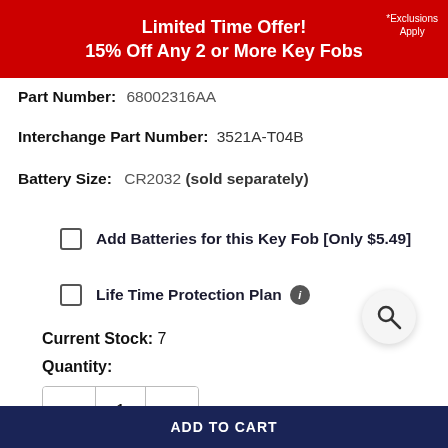Limited Time Offer! 15% Off Any 2 or More Key Fobs
*Exclusions Apply
Part Number: 68002316AA
Interchange Part Number: 3521A-T04B
Battery Size: CR2032 (sold separately)
Add Batteries for this Key Fob [Only $5.49]
Life Time Protection Plan
Current Stock: 7
Quantity:
1
ADD TO CART